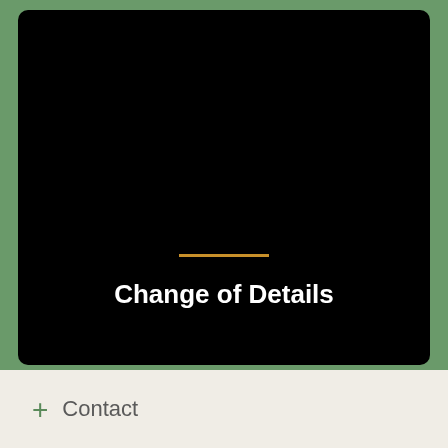[Figure (illustration): Black rounded rectangle card on green background with an orange horizontal line and white bold text reading 'Change of Details']
+ Contact